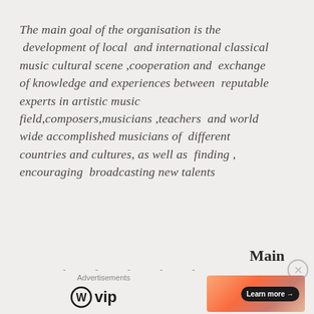The main goal of the organisation is the development of local  and international classical music cultural scene ,cooperation and  exchange of knowledge and experiences between  reputable experts in artistic music field,composers,musicians ,teachers  and world wide accomplished musicians of  different countries and cultures, as well as  finding , encouraging  broadcasting new talents
Main
Advertisements